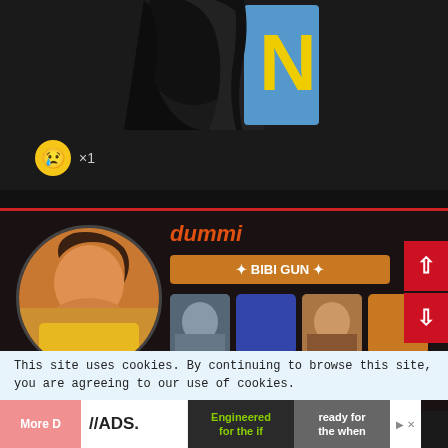[Figure (photo): Partial photo of a person with dark hair holding a blue sign with yellow letter N, dark background]
😢 ×1
[Figure (screenshot): Profile card with username 'dummi', tag button '✦ BIBI GUN ✦', circular avatar showing a person in yellow, and a grid of thumbnail images]
This site uses cookies. By continuing to browse this site, you are agreeing to our use of cookies.
[Figure (screenshot): Advertisement banner: //ADS logo with text 'Engineered for the if' and 'ready for the when']